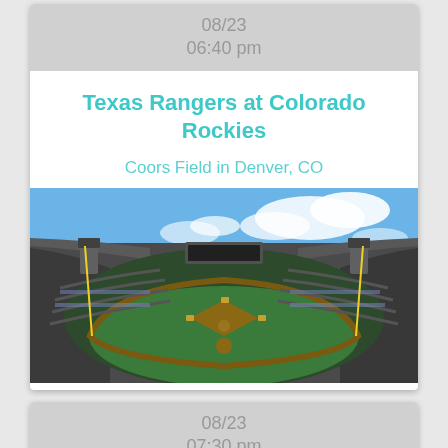08/23
06:40 pm
Texas Rangers at Colorado Rockies
Coors Field in Denver, CO
[Figure (photo): Aerial view of Coors Field baseball stadium in Denver, CO showing the field, seating, and open roof under a blue sky with clouds]
08/23
07:30 pm
The Australian Pink Floyd